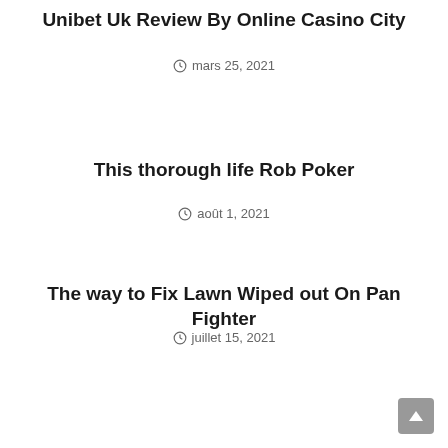Unibet Uk Review By Online Casino City
mars 25, 2021
This thorough life Rob Poker
août 1, 2021
The way to Fix Lawn Wiped out On Pan Fighter
juillet 15, 2021